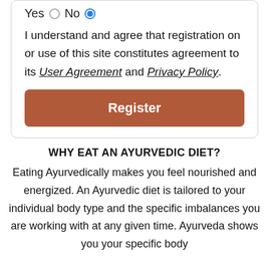Yes   No (selected)
I understand and agree that registration on or use of this site constitutes agreement to its User Agreement and Privacy Policy.
Register
WHY EAT AN AYURVEDIC DIET?
Eating Ayurvedically makes you feel nourished and energized. An Ayurvedic diet is tailored to your individual body type and the specific imbalances you are working with at any given time. Ayurveda shows you your specific body